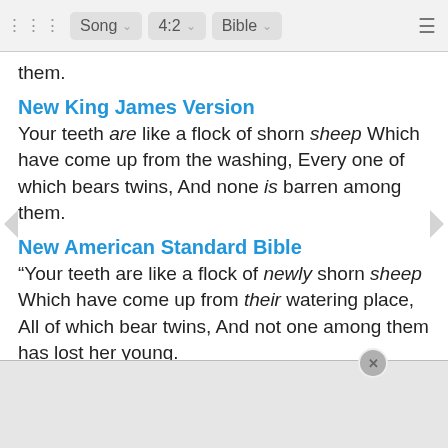Song  4:2  Bible
them.
New King James Version
Your teeth are like a flock of shorn sheep Which have come up from the washing, Every one of which bears twins, And none is barren among them.
New American Standard Bible
“Your teeth are like a flock of newly shorn sheep Which have come up from their watering place, All of which bear twins, And not one among them has lost her young.
NASB 1995
“Your teeth are like a flock of newly shorn ewes Which have come up from their washing, All of which bear twins, and not one among them has lost her young.